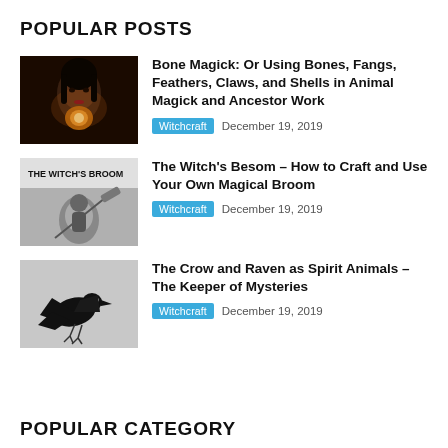POPULAR POSTS
[Figure (photo): Woman holding a glowing skull or ornament in dark lighting]
Bone Magick: Or Using Bones, Fangs, Feathers, Claws, and Shells in Animal Magick and Ancestor Work
Witchcraft   December 19, 2019
[Figure (photo): Vintage black and white image with text THE WITCH'S BROOM and a figure]
The Witch's Besom – How to Craft and Use Your Own Magical Broom
Witchcraft   December 19, 2019
[Figure (photo): Black and white photo of a crow in flight against a gray background]
The Crow and Raven as Spirit Animals – The Keeper of Mysteries
Witchcraft   December 19, 2019
POPULAR CATEGORY